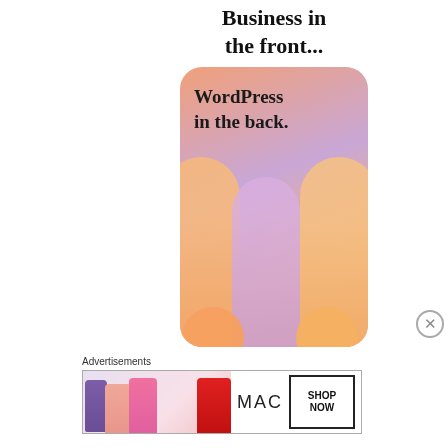[Figure (illustration): WordPress advertisement banner: top text 'Business in the front...' in large bold serif font, below a rounded rectangle card with pastel orange/lavender gradient background containing text 'WordPress in the back.' and decorative pill/arch shapes and circles at the bottom]
[Figure (illustration): Close/X button circle icon to dismiss the ad]
Advertisements
[Figure (illustration): MAC cosmetics advertisement banner showing colorful lipsticks (purple, peach, pink, red) on left, MAC brand name in center, and 'SHOP NOW' button box on right]